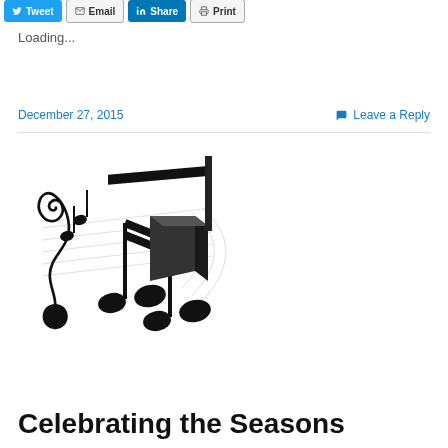Tweet | Email | Share | Print
Loading...
December 27, 2015
Leave a Reply
[Figure (illustration): Stylized 3D black musical notes and treble clef with staff lines on a white background]
Celebrating the Seasons